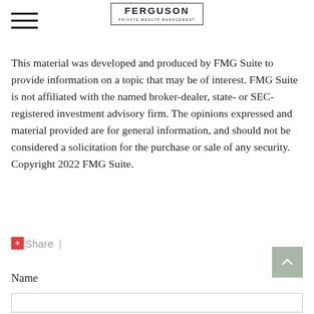[Figure (logo): Ferguson Private Wealth Management logo in a bordered box, with hamburger menu icon on the left]
This material was developed and produced by FMG Suite to provide information on a topic that may be of interest. FMG Suite is not affiliated with the named broker-dealer, state- or SEC-registered investment advisory firm. The opinions expressed and material provided are for general information, and should not be considered a solicitation for the purchase or sale of any security. Copyright 2022 FMG Suite.
Share |
Name